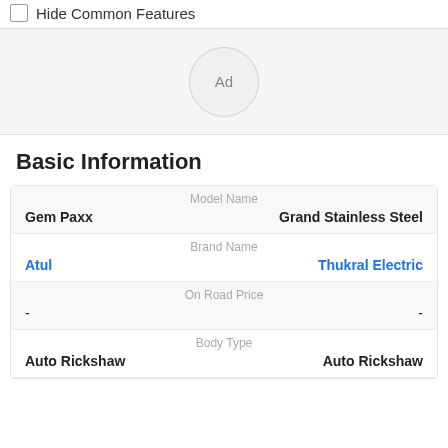Hide Common Features
[Figure (other): Ad placeholder circle with text 'Ad' on a light grey background]
Basic Information
| Model Name | Brand Name | On Road Price | Body Type |
| --- | --- | --- | --- |
| Gem Paxx | Grand Stainless Steel |
| Atul | Thukral Electric |
| - | - |
| Auto Rickshaw | Auto Rickshaw |